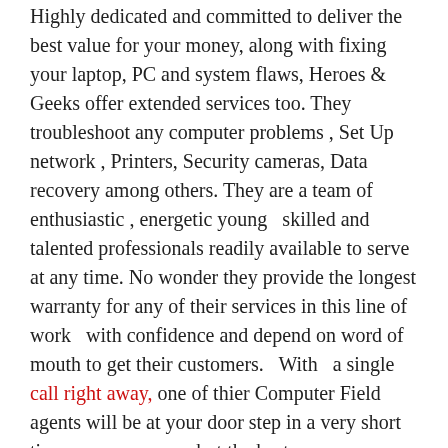Highly dedicated and committed to deliver the best value for your money, along with fixing your laptop, PC and system flaws, Heroes & Geeks offer extended services too. They troubleshoot any computer problems , Set Up network , Printers, Security cameras, Data recovery among others. They are a team of enthusiastic , energetic young  skilled and talented professionals readily available to serve at any time. No wonder they provide the longest warranty for any of their services in this line of work  with confidence and depend on word of mouth to get their customers.  With  a single call right away, one of thier Computer Field agents will be at your door step in a very short time serve you none but the best.
Skilled in data recovery option, you can be for sure assured of all your important and significant files would not be damaged or lost when you computer system breaks down. Understanding the fact that viruses are today's biggest threats to our computers and privacy, it is not recommended to use an infected system or even